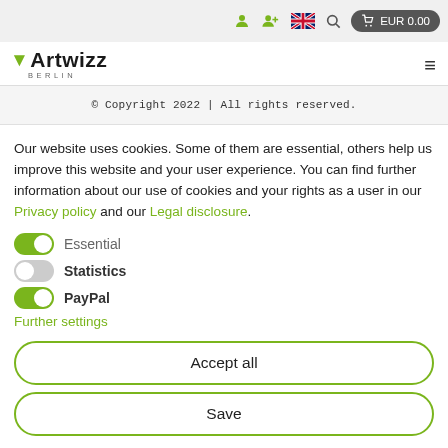EUR 0.00
[Figure (logo): Artwizz Berlin logo with green arrow triangle]
© Copyright 2022 | All rights reserved.
Our website uses cookies. Some of them are essential, others help us improve this website and your user experience. You can find further information about our use of cookies and your rights as a user in our Privacy policy and our Legal disclosure.
Essential (toggle on)
Statistics (toggle off)
PayPal (toggle on)
Further settings
Accept all
Save